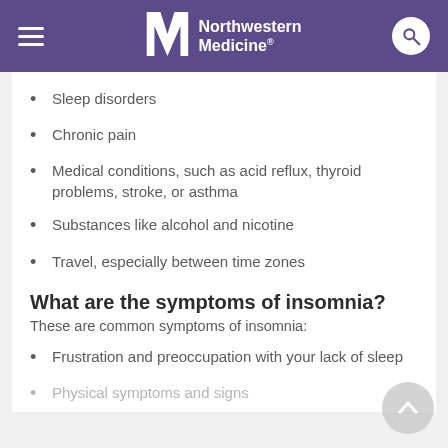Northwestern Medicine
Sleep disorders
Chronic pain
Medical conditions, such as acid reflux, thyroid problems, stroke, or asthma
Substances like alcohol and nicotine
Travel, especially between time zones
What are the symptoms of insomnia?
These are common symptoms of insomnia:
Frustration and preoccupation with your lack of sleep
Physical symptoms and signs